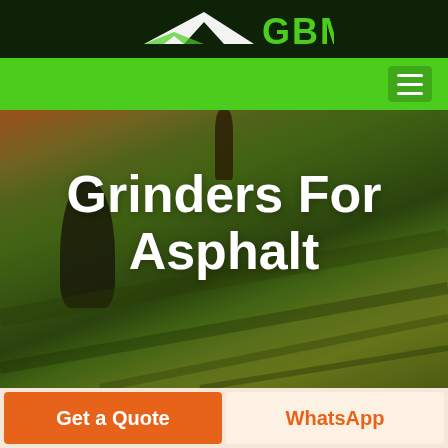[Figure (logo): GBM company logo with white arrow/wing shape on dark green background, with green 'GBM' text]
[Figure (screenshot): Green navigation bar with hamburger menu icon on the right]
[Figure (photo): Aerial view of rolling green agricultural fields with two dark cypress trees, warm golden-green light]
Grinders For Asphalt
[Figure (other): Two call-to-action buttons: orange 'Get a Quote' button and light cream 'WhatsApp' button with orange text]